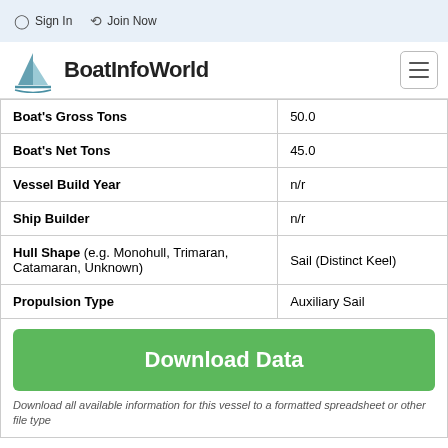Sign In   Join Now
[Figure (logo): BoatInfoWorld logo with sailboat icon and text]
| Field | Value |
| --- | --- |
| Boat's Gross Tons | 50.0 |
| Boat's Net Tons | 45.0 |
| Vessel Build Year | n/r |
| Ship Builder | n/r |
| Hull Shape (e.g. Monohull, Trimaran, Catamaran, Unknown) | Sail (Distinct Keel) |
| Propulsion Type | Auxiliary Sail |
Download Data
Download all available information for this vessel to a formatted spreadsheet or other file type